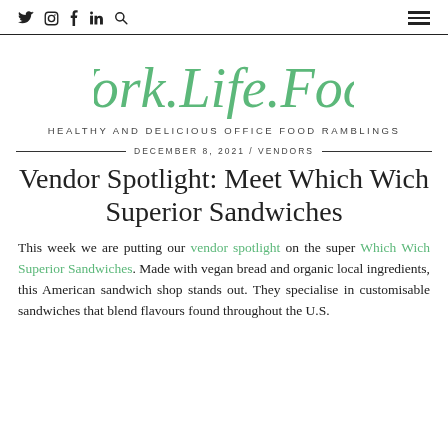Social icons: Twitter, Instagram, Facebook, LinkedIn, Search | Hamburger menu
Work.Life.Food
HEALTHY AND DELICIOUS OFFICE FOOD RAMBLINGS
DECEMBER 8, 2021 / VENDORS
Vendor Spotlight: Meet Which Wich Superior Sandwiches
This week we are putting our vendor spotlight on the super Which Wich Superior Sandwiches. Made with vegan bread and organic local ingredients, this American sandwich shop stands out. They specialise in customisable sandwiches that blend flavours found throughout the U.S.